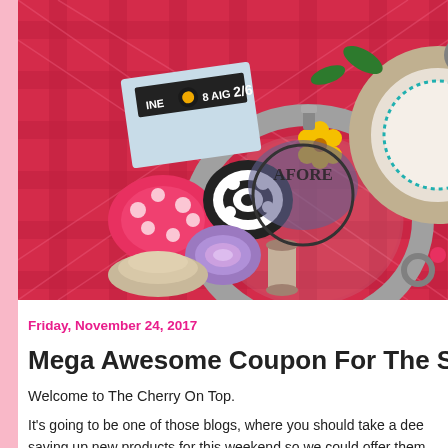[Figure (photo): Crafting supplies collage on a red plaid background including embroidery hoops, thread spools, paper flowers (pink polka dot, black and white swirl, purple, beige), yellow fabric flowers, a needle card labeled '8 AIG 2/6', decorative brads, and a teal stitched circle.]
Friday, November 24, 2017
Mega Awesome Coupon For The Sh
Welcome to The Cherry On Top.
It's going to be one of those blogs, where you should take a dee... saving up new products for this weekend so we could offer them... well as show off new goodies from around DigiLand and of cou...